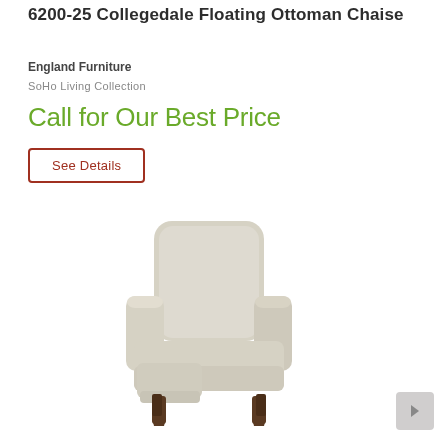6200-25 Collegedale Floating Ottoman Chaise
England Furniture
SoHo Living Collection
Call for Our Best Price
See Details
[Figure (photo): A beige/cream upholstered recliner chair with dark wooden legs, photographed at a slight angle on a white background. The chair has a high back, padded arms, and a visible footrest/ottoman component.]